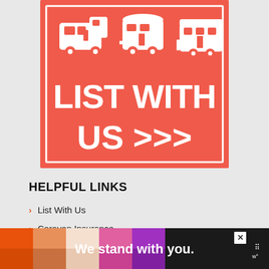[Figure (illustration): Red banner with white RV/caravan icons (motorhome, fifth-wheel, travel trailer) and bold white text 'LIST WITH US >>>' with a white border outline]
HELPFUL LINKS
List With Us
Caravan Insurance
Contact
[Figure (infographic): Advertisement banner: colorful gradient squares (orange, peach, white, pink, purple) on left; bold white text 'We stand with you.' in center on dark background; close X button top right; logo dots top far right]